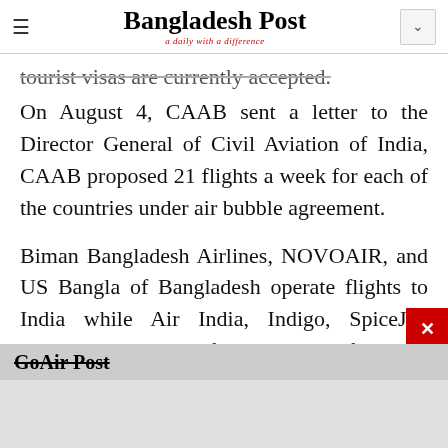Bangladesh Post — a daily with a difference
tourist visas are currently accepted.
On August 4, CAAB sent a letter to the Director General of Civil Aviation of India, CAAB proposed 21 flights a week for each of the countries under air bubble agreement.
Biman Bangladesh Airlines, NOVOAIR, and US Bangla of Bangladesh operate flights to India while Air India, Indigo, SpiceJet, Vistara, and GoAir of India operate flights to Bangladesh.